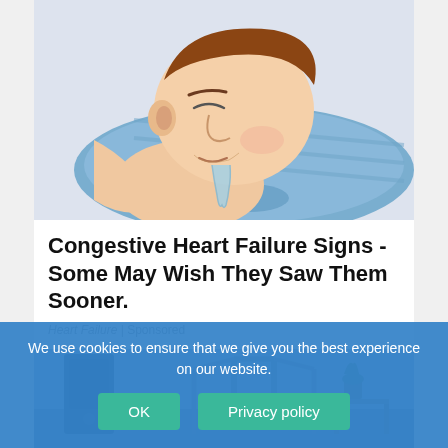[Figure (illustration): Illustration of a man sleeping on a blue pillow, drooling onto the pillow]
Congestive Heart Failure Signs - Some May Wish They Saw Them Sooner.
Heart Failure | Sponsored
[Figure (photo): Photo of medical equipment including a walker/wheelchair and hospital room items, with a blue toned overlay]
We use cookies to ensure that we give you the best experience on our website.
OK
Privacy policy